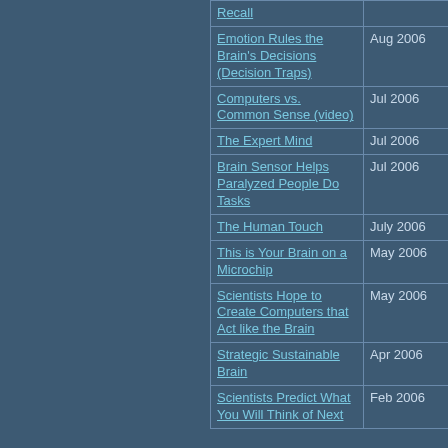| Title | Date |
| --- | --- |
| Recall |  |
| Emotion Rules the Brain's Decisions (Decision Traps) | Aug 2006 |
| Computers vs. Common Sense (video) | Jul 2006 |
| The Expert Mind | Jul 2006 |
| Brain Sensor Helps Paralyzed People Do Tasks | Jul 2006 |
| The Human Touch | July 2006 |
| This is Your Brain on a Microchip | May 2006 |
| Scientists Hope to Create Computers that Act like the Brain | May 2006 |
| Strategic Sustainable Brain | Apr 2006 |
| Scientists Predict What You Will Think of Next | Feb 2006 |